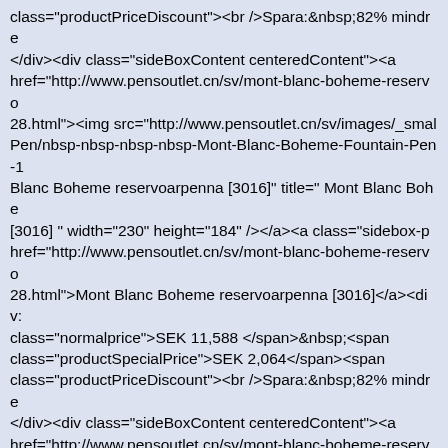class="productPriceDiscount"><br />Spara: 82% mindre </div><div class="sideBoxContent centeredContent"><a href="http://www.pensoutlet.cn/sv/mont-blanc-boheme-reservo28.html"><img src="http://www.pensoutlet.cn/sv/images/_smalPen/nbsp-nbsp-nbsp-nbsp-Mont-Blanc-Boheme-Fountain-Pen-1Blanc Boheme reservoarpenna [3016]" title=" Mont Blanc Bohe[3016] " width="230" height="184" /></a><a class="sidebox-phref="http://www.pensoutlet.cn/sv/mont-blanc-boheme-reservo28.html">Mont Blanc Boheme reservoarpenna [3016]</a><div:class="normalprice">SEK 11,588 </span>&nbsp;<span class="productSpecialPrice">SEK 2,064</span><span class="productPriceDiscount"><br />Spara: 82% mindre </div><div class="sideBoxContent centeredContent"><a href="http://www.pensoutlet.cn/sv/mont-blanc-boheme-reservo29.html"><img src="http://www.pensoutlet.cn/sv/images/_smalPen/nbsp-nbsp-nbsp-nbsp-Mont-Blanc-Boheme-Fountain-Pen-2Blanc Boheme reservoarpenna [d5e7]" title=" Mont Blanc Bohe[d5e7] " width="230" height="184" /></a><a class="sidebox-phref="http://www.pensoutlet.cn/sv/mont-blanc-boheme-reservo29.html">Mont Blanc Boheme reservoarpenna [d5e7]</a><div:class="normalprice">SEK 11,597 </span>&nbsp;<span class="productSpecialPrice">SEK 2,055</span><span class="productPriceDiscount"><br />Spara: 82% mindre </div></div>